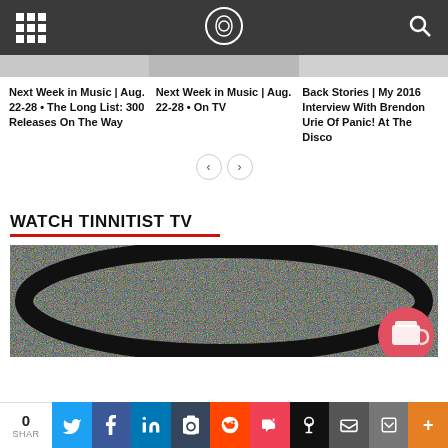Tinnitist website navigation bar with grid menu, logo, and search icon
Next Week in Music | Aug. 22-28 • The Long List: 300 Releases On The Way
Next Week in Music | Aug. 22-28 • On TV
Back Stories | My 2016 Interview With Brendon Urie Of Panic! At The Disco
WATCH TINNITIST TV
[Figure (photo): Television screen showing static/noise pattern with a coffee cup badge overlay in the bottom right corner]
0 SHAR